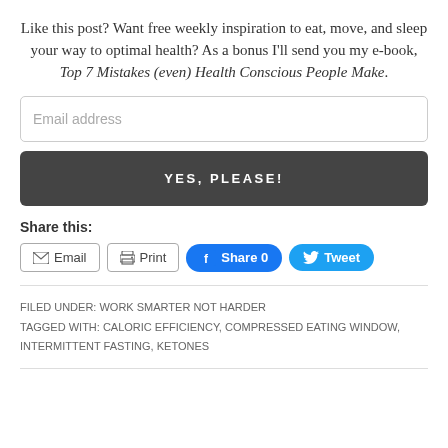Like this post? Want free weekly inspiration to eat, move, and sleep your way to optimal health? As a bonus I'll send you my e-book, Top 7 Mistakes (even) Health Conscious People Make.
[Figure (other): Email address input field]
[Figure (other): YES, PLEASE! submit button]
Share this:
[Figure (other): Social share buttons: Email, Print, Share 0 (Facebook), Tweet (Twitter)]
FILED UNDER: WORK SMARTER NOT HARDER
TAGGED WITH: CALORIC EFFICIENCY, COMPRESSED EATING WINDOW, INTERMITTENT FASTING, KETONES